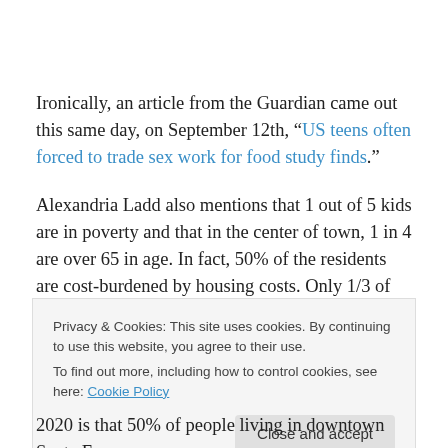Ironically, an article from the Guardian came out this same day, on September 12th, “US teens often forced to trade sex work for food study finds.”
Alexandria Ladd also mentions that 1 out of 5 kids are in poverty and that in the center of town, 1 in 4 are over 65 in age. In fact, 50% of the residents are cost-burdened by housing costs. Only 1/3 of people living in SF work here,
Privacy & Cookies: This site uses cookies. By continuing to use this website, you agree to their use.
To find out more, including how to control cookies, see here: Cookie Policy
2020 is that 50% of people living in downtown Santa Fe